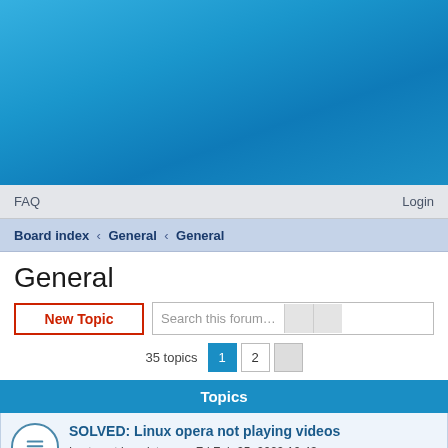[Figure (illustration): Blue gradient banner/header area at the top of the forum page]
FAQ    Login
Board index › General › General
General
New Topic   Search this forum...   35 topics  1  2
Topics
SOLVED: Linux opera not playing videos
Last post by mister_v « Fri Feb 25, 2022 10:43 am
Replies: 2